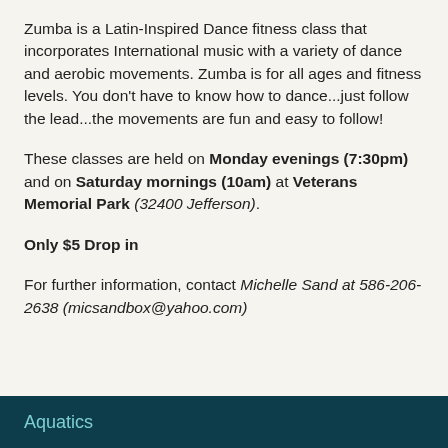Zumba is a Latin-Inspired Dance fitness class that incorporates International music with a variety of dance and aerobic movements. Zumba is for all ages and fitness levels. You don't have to know how to dance...just follow the lead...the movements are fun and easy to follow!
These classes are held on Monday evenings (7:30pm) and on Saturday mornings (10am) at Veterans Memorial Park (32400 Jefferson).
Only $5 Drop in
For further information, contact Michelle Sand at 586-206-2638 (micsandbox@yahoo.com)
Aquatics